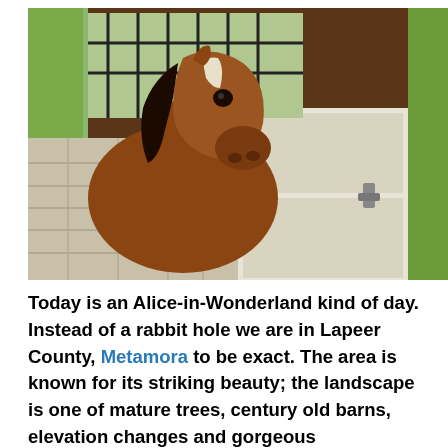[Figure (photo): A brown horse with a white mark on its forehead looks out from a stable stall. The stall has green wooden trim, a dark brown door, and stone/brick walls. Trees are visible in the background.]
Today is an Alice-in-Wonderland kind of day. Instead of a rabbit hole we are in Lapeer County, Metamora to be exact. The area is known for its striking beauty; the landscape is one of mature trees, century old barns, elevation changes and gorgeous countryside. You can board your horses, golf at an award-winning golf course, hunt pheasant, learn to drive a carriage, ride a